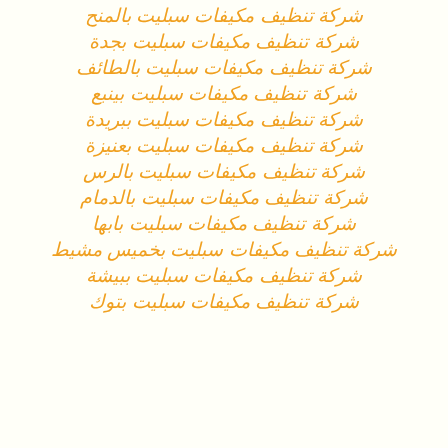شركة تنظيف مكيفات سبليت بالمنح
شركة تنظيف مكيفات سبليت بجدة
شركة تنظيف مكيفات سبليت بالطائف
شركة تنظيف مكيفات سبليت بينبع
شركة تنظيف مكيفات سبليت ببريدة
شركة تنظيف مكيفات سبليت بعنيزة
شركة تنظيف مكيفات سبليت بالرس
شركة تنظيف مكيفات سبليت بالدمام
شركة تنظيف مكيفات سبليت بابها
شركة تنظيف مكيفات سبليت بخميس مشيط
شركة تنظيف مكيفات سبليت ببيشة
شركة تنظيف مكيفات سبليت بتوك